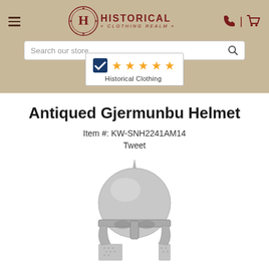Historical Clothing Realm - header with navigation, search bar, and ratings badge
Antiqued Gjermunbu Helmet
Item #: KW-SNH2241AM14
Tweet
[Figure (photo): Silver/metallic antiqued Gjermunbu Viking helmet with nose guard and chainmail aventail, shown on white background]